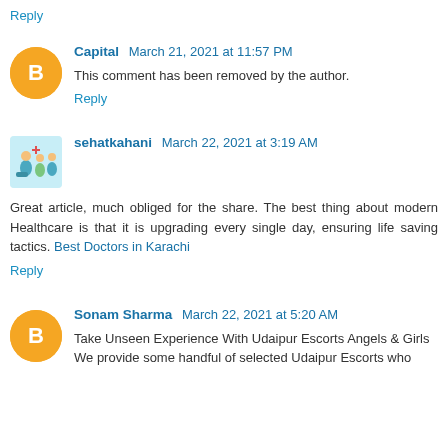Reply
Capital  March 21, 2021 at 11:57 PM
This comment has been removed by the author.
Reply
sehatkahani  March 22, 2021 at 3:19 AM
Great article, much obliged for the share. The best thing about modern Healthcare is that it is upgrading every single day, ensuring life saving tactics. Best Doctors in Karachi
Reply
Sonam Sharma  March 22, 2021 at 5:20 AM
Take Unseen Experience With Udaipur Escorts Angels & Girls
We provide some handful of selected Udaipur Escorts who